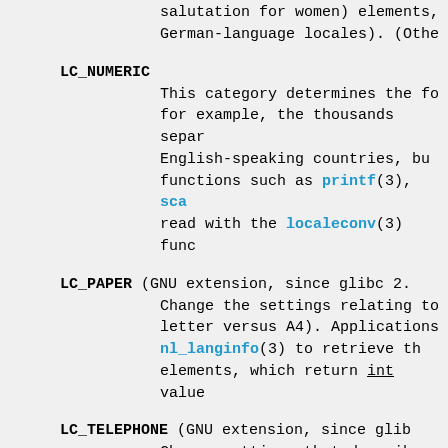salutation for women) elements, German-language locales). (Othe
LC_NUMERIC
    This category determines the fo for example, the thousands separ English-speaking countries, bu functions such as printf(3), sca read with the localeconv(3) func
LC_PAPER (GNU extension, since glibc 2. Change the settings relating to letter versus A4). Applications nl_langinfo(3) to retrieve th elements, which return int value
LC_TELEPHONE (GNU extension, since glib Change settings that describe th Applications that need this